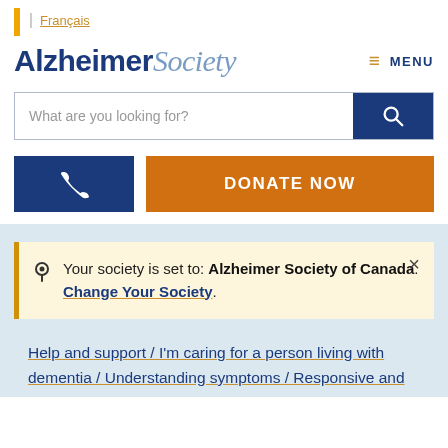Français
Alzheimer Society
≡ MENU
What are you looking for?
📞 DONATE NOW
Your society is set to: Alzheimer Society of Canada. Change Your Society.
Help and support / I'm caring for a person living with dementia / Understanding symptoms / Responsive and